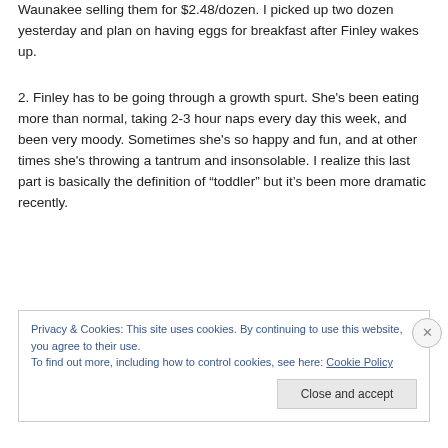Waunakee selling them for $2.48/dozen. I picked up two dozen yesterday and plan on having eggs for breakfast after Finley wakes up.
2. Finley has to be going through a growth spurt. She's been eating more than normal, taking 2-3 hour naps every day this week, and been very moody. Sometimes she's so happy and fun, and at other times she's throwing a tantrum and insonsolable. I realize this last part is basically the definition of “toddler” but it’s been more dramatic recently.
Privacy & Cookies: This site uses cookies. By continuing to use this website, you agree to their use.
To find out more, including how to control cookies, see here: Cookie Policy